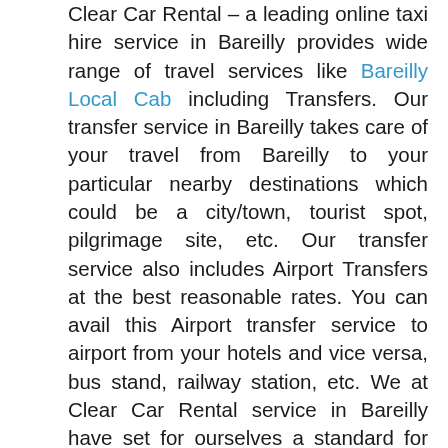Clear Car Rental – a leading online taxi hire service in Bareilly provides wide range of travel services like Bareilly Local Cab including Transfers. Our transfer service in Bareilly takes care of your travel from Bareilly to your particular nearby destinations which could be a city/town, tourist spot, pilgrimage site, etc. Our transfer service also includes Airport Transfers at the best reasonable rates. You can avail this Airport transfer service to airport from your hotels and vice versa, bus stand, railway station, etc. We at Clear Car Rental service in Bareilly have set for ourselves a standard for offering a better and comfortable travel services to the customers. Transfer service of Clear Car Rental in Bareilly assures the customers pleasant travel from their locations in the city to their particular nearby destinations. Along with this one way transfers, you can also opt for return transfers service where you are entitled to get additional discount on car/cab/taxi hire rate. Our transfers service in Bareilly aims to provide better, smooth, safe and hassle free